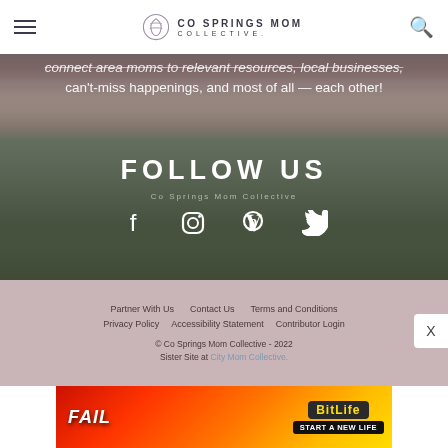CO SPRINGS MOM COLLECTIVE
connect area moms to relevant resources, local businesses, can't-miss happenings, and most of all — each other!
FOLLOW US
[Figure (infographic): Social media icons: Facebook, Instagram, Pinterest, Twitter on a photo background]
Partner With Us   Contact Us   Terms and Conditions   Privacy Policy   Accessibility Statement   Contributor Login   © Co Springs Mom Collective - 2022   Sister Site at City Mom Collective.
[Figure (photo): Advertisement banner: BitLife - START A NEW LIFE game ad with FAIL text and fire imagery]